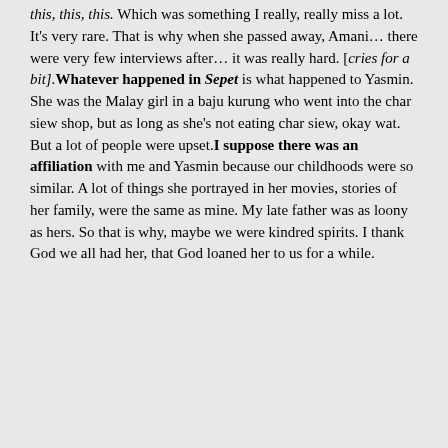this, this, this. Which was something I really, really miss a lot. It's very rare. That is why when she passed away, Amani… there were very few interviews after… it was really hard. [cries for a bit]. Whatever happened in Sepet is what happened to Yasmin. She was the Malay girl in a baju kurung who went into the char siew shop, but as long as she's not eating char siew, okay wat. But a lot of people were upset. I suppose there was an affiliation with me and Yasmin because our childhoods were so similar. A lot of things she portrayed in her movies, stories of her family, were the same as mine. My late father was as loony as hers. So that is why, maybe we were kindred spirits. I thank God we all had her, that God loaned her to us for a while.